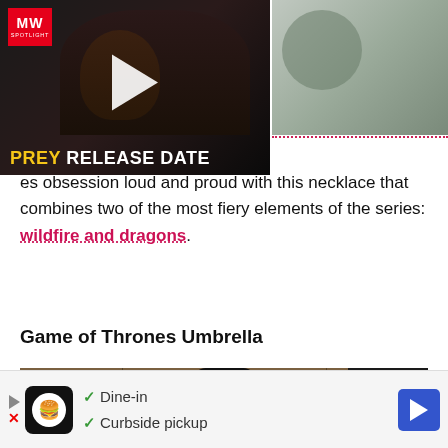[Figure (screenshot): Video thumbnail showing 'PREY RELEASE DATE' with MW Spotlight logo and play button, dark cinematic image of a person]
[Figure (photo): Right side thumbnail, blurred grey background image]
es obsession loud and proud with this necklace that combines two of the most fiery elements of the series: wildfire and dragons.
Game of Thrones Umbrella
[Figure (photo): Photo of a dark dragon-head umbrella handle displayed in what appears to be a store, with book/game covers visible on the left and a person on the right]
[Figure (screenshot): Advertisement bar showing restaurant with Dine-in and Curbside pickup options, navigation arrow icon]